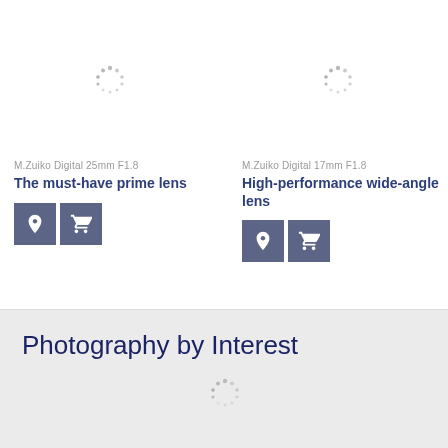[Figure (other): Loading spinner (animated dots circle) for product image placeholder]
M.Zuiko Digital 25mm F1.8
The must-have prime lens
[Figure (other): Location pin icon button (gray square)]
[Figure (other): Shopping cart icon button (gray square)]
[Figure (other): Loading spinner (animated dots circle) for product image placeholder]
M.Zuiko Digital 17mm F1.8
High-performance wide-angle lens
[Figure (other): Location pin icon button (gray square)]
[Figure (other): Shopping cart icon button (gray square)]
HLD-9
Ergonomi… and portra…
[Figure (other): Location pin icon button (gray square, partially visible)]
Photography by Interest
[Figure (other): Loading spinner placeholder in bottom gray section]
[Figure (other): Loading spinner placeholder in bottom gray section]